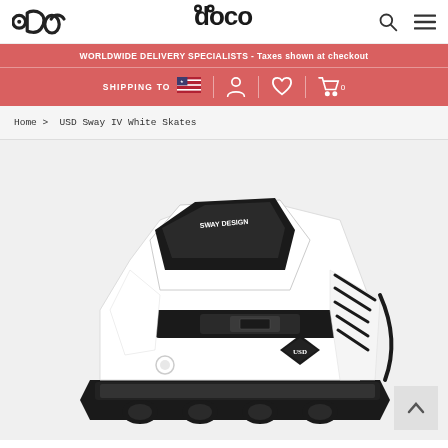Doco logo, search icon, menu icon
WORLDWIDE DELIVERY SPECIALISTS - Taxes shown at checkout
SHIPPING TO 🇺🇸
Home > USD Sway IV White Skates
[Figure (photo): Close-up photo of USD Sway IV White inline skate boot showing white shell, black padding, black buckle strap, black laces, and USD logo diamond on the side]